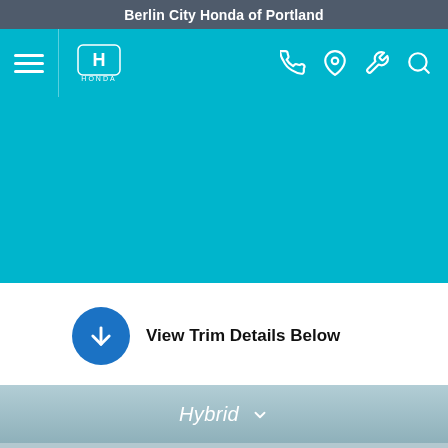Berlin City Honda of Portland
[Figure (screenshot): Honda dealer website navigation bar with hamburger menu, Honda logo, phone, location, wrench, and search icons on teal background]
[Figure (screenshot): Teal hero image area for Berlin City Honda of Portland website]
View Trim Details Below
[Figure (screenshot): Hybrid dropdown selector bar with chevron on gray-blue gradient background]
Search  Glovebox  Contact  Chat